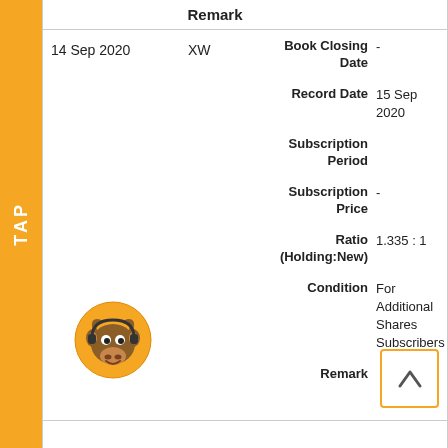| Date | Type | Field | Value | Remark |
| --- | --- | --- | --- | --- |
| 14 Sep 2020 | XW | Book Closing Date | - |  |
|  |  | Record Date | 15 Sep 2020 |  |
|  |  | Subscription Period |  |  |
|  |  | Subscription Price | - |  |
|  |  | Ratio (Holding:New) | 1.335 : 1 |  |
|  |  | Condition | For Additional Shares Subscribers |  |
|  |  | Remark |  |  |